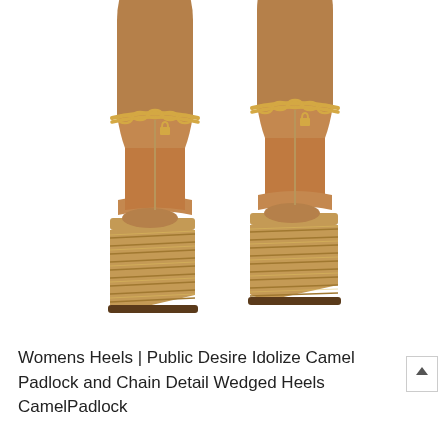[Figure (photo): Product photo of two camel/tan colored wedge heels (espadrille-style platform wedges) with gold chain and padlock ankle detail, worn on a model's feet against a white background. The wedge platforms have a gold/tan striped espadrille texture.]
Womens Heels | Public Desire Idolize Camel Padlock and Chain Detail Wedged Heels CamelPadlock